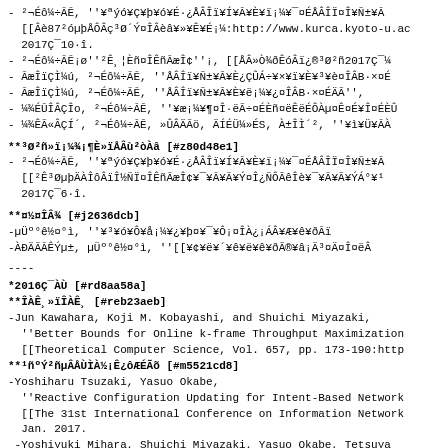- ²¬Éô¼÷ĀĒ, ''¥ªýó¥Ç¥þ¥ó¥É·¿ÅÂÎï¥Í¥Ā¥È¥ï¡¼¥¯¤ÉÅÂÎÏ¤Î¥Ñ±¥Å [[Âè87²óµþÅÔÂç³Ø´Ý¤ÎÂèâ¥»¥Ê¥É¡¼:http://www.kurca.kyoto-u.ac 2017Ç¯10·î.
- ²¬Éô¼÷ĀĒ¡ø''²Ê¸¦Èñ¤ÎÊñĀæÎ¢''¡, [[ÅÂ»Ò¾ðÊóÂï¿®³Ø²ñ2017Ç¯¼
- ĀæÎïÇÌ¼ú, ²¬Éô¼÷ĀĒ, ''ÅÂÎï¥Ñ±¥Ā¥È¿ÇÛÁ÷¥×¥ï¥È¥³¥è¤ÎÂB·×¤É
- ĀæÎïÇÌ¼ú, ²¬Éô¼÷ĀĒ, ''ÅÂÎï¥Ñ±¥Ā¥È¥ë¡¼¥¿¤ÎÂB·×¤ÉÄÃ'',
- ¼¾ÉŪÎÂÇÎo, ²¬Éô¼÷ĀĒ, ''¥æ¡¼¥¶¤Î·ëÃ÷¤ÉÈñ¤ëÊëÉÔÀµ¤Ê¤É¥Î¤ÉÈÛ
- ¼¾ÊÃ«ÂÇÍ´, ²¬Éô¼÷ĀĒ, »ÛÂÄÃö, ÄÍÉÜ¼»ÉS, À±ÎÌ´², ''¥ì¥Ü¥ĀÀ
**³Ø²ñ»ï¡¼¾¡¶È»ïÅÂù²òÀâ [#z80d48e1]
- ²¬Éô¼÷ĀĒ, ''¥ªýó¥Ç¥þ¥ó¥É·¿ÅÂÎï¥Í¥Ā¥È¥ï¡¼¥¯¤ÉÅÂÎÏ¤Î¥Ñ±¥Ā [[²Ê³ØµþÄÀÎôÂïÎ½ÑÏ¤ÎÊñĀæÎ¢¥¯¥Ā¥Ã¥Ý¤Î¿ÑÔÃêÎè¥¯¥Ā¥Ã¥ÝÁ°¥¹ 2017Ç¯6·î.
**¤½¤ÎÂ¾ [#j2636dcb]
-µÜº°ê½¤°ì, ''¥³¥ó¥Ô¥å¡¼¥¿¥þ¤¥¯¥Ô¡¤ÎÀ¿¡ÁÂ¥Æ¥ê¥ðĀï
-ÀÐÄÃĀÊÝµ±, µÜº°ê½¤°ì, ''[[¥¢¥ë¥´¥ê¥ë¥ê¥ðÃ®¥â¡Ä³¤Ä¤Î¤ëÂ
----
*2016Ç¯ÀÙ [#rd8aa58a]
**ÎÀÊ¸»ïÎÀÊ¸ [#reb23aeb]
-Jun Kawahara, Koji M. Kobayashi, and Shuichi Miyazaki,
''Better Bounds for Online k-frame Throughput Maximization
[[Theoretical Computer Science, Vol. 657, pp. 173-190:http
**¹ñºÝ²ñµÂÅÙÌÀ½¡Ê¿ôÆÉÃõ [#m5521cd8]
-Yoshiharu Tsuzaki, Yasuo Okabe,
''Reactive Configuration Updating for Intent-Based Network
[[The 31st International Conference on Information Network
Jan. 2017.
-Yoshiyuki Mihara, Shuichi Miyazaki, Yasuo Okabe, Tetsuya